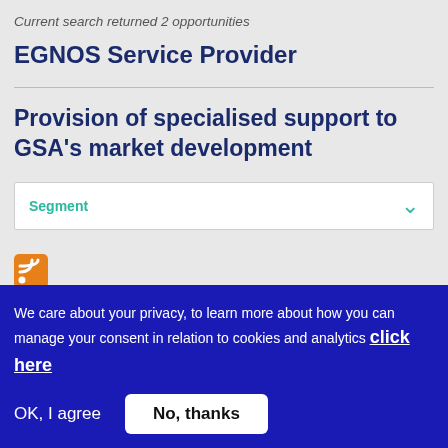Current search returned 2 opportunities
EGNOS Service Provider
Provision of specialised support to GSA's market development
Segment
[Figure (other): RSS feed icon (orange square with white wifi-style signal lines)]
We care about your privacy, to learn more about how you can manage your consent in relation to cookies and analytics click here
OK, I agree
No, thanks